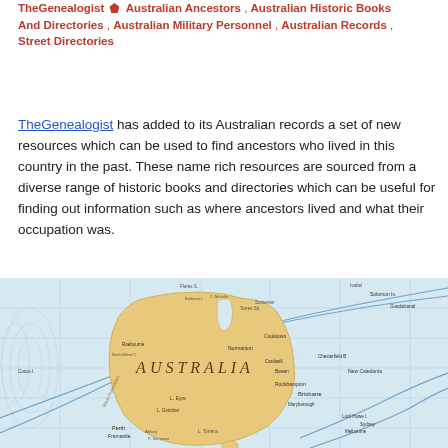TheGenealogist 🏷 Australian Ancestors , Australian Historic Books And Directories , Australian Military Personnel , Australian Records , Street Directories
TheGenealogist has added to its Australian records a set of new resources which can be used to find ancestors who lived in this country in the past. These name rich resources are sourced from a diverse range of historic books and directories which can be useful for finding out information such as where ancestors lived and what their occupation was.
[Figure (map): Vintage historical map of Australia showing surrounding seas, shipping routes, and place names including AUSTRALIA in the center, Brisbane, Perth, Fremantle, Solomon Islands, New Caledonia, and other geographic features.]